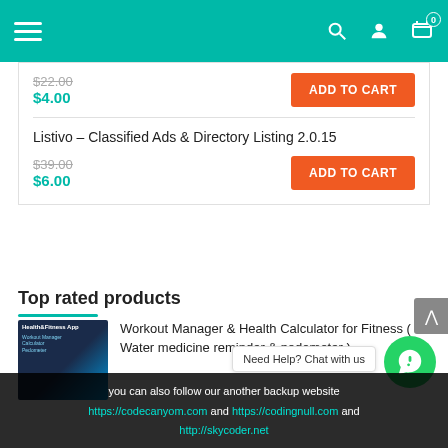[Figure (screenshot): Navigation bar with hamburger menu, search icon, user icon, and cart icon with badge 0 on teal background]
$22.00
$4.00
ADD TO CART
Listivo – Classified Ads & Directory Listing 2.0.15
$39.00
$6.00
ADD TO CART
Top rated products
Workout Manager & Health Calculator for Fitness ( Water medicine reminder & pedometer )
Need Help? Chat with us
you can also follow our another backup website
https://codecanyom.com and https://codingnull.com and
http://skycoder.net